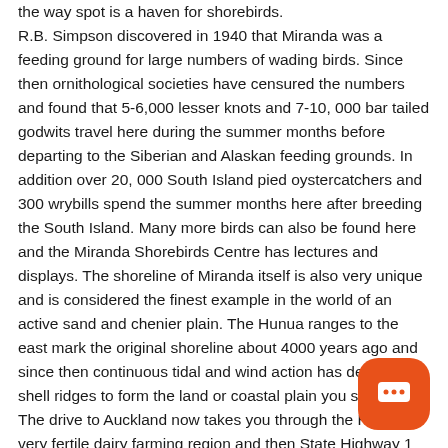the way spot is a haven for shorebirds. R.B. Simpson discovered in 1940 that Miranda was a feeding ground for large numbers of wading birds. Since then ornithological societies have censured the numbers and found that 5-6,000 lesser knots and 7-10, 000 bar tailed godwits travel here during the summer months before departing to the Siberian and Alaskan feeding grounds. In addition over 20, 000 South Island pied oystercatchers and 300 wrybills spend the summer months here after breeding the South Island. Many more birds can also be found here and the Miranda Shorebirds Centre has lectures and displays. The shoreline of Miranda itself is also very unique and is considered the finest example in the world of an active sand and chenier plain. The Hunua ranges to the east mark the original shoreline about 4000 years ago and since then continuous tidal and wind action has deposited shell ridges to form the land or coastal plain you see today. The drive to Auckland now takes you through the Hauraki very fertile dairy farming region and then State Highway 1 a...